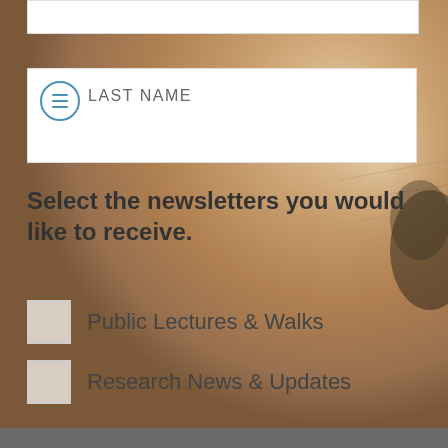[Figure (photo): Blurred close-up photo of a cat's face and fur, warm beige/brown tones, serving as background]
LAST NAME
Select the newsletters you would like to receive.
Public Lectures & Walks
Research News & Updates
SUBSCRIBE